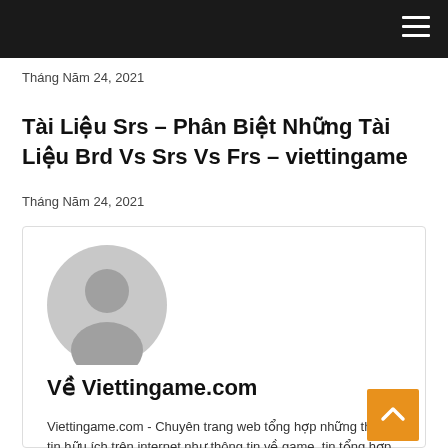Tháng Năm 24, 2021
Tài Liệu Srs – Phân Biệt Những Tài Liệu Brd Vs Srs Vs Frs – viettingame
Tháng Năm 24, 2021
[Figure (illustration): Author avatar placeholder: grey circular silhouette of a person]
Về Viettingame.com
Viettingame.com - Chuyên trang web tổng hợp những thông tin hữu ích trên internet như thông tin về game, tin tổng hợp.